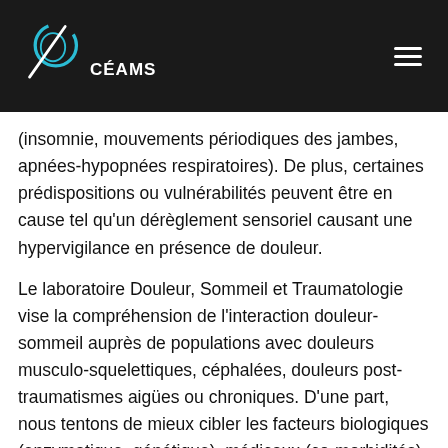[Figure (logo): CÉAMS logo with stylized circular head graphic and text 'CÉAMS' in white on black background, with hamburger menu icon top right]
(insomnie, mouvements périodiques des jambes, apnées-hypopnées respiratoires). De plus, certaines prédispositions ou vulnérabilités peuvent être en cause tel qu'un dérèglement sensoriel causant une hypervigilance en présence de douleur.
Le laboratoire Douleur, Sommeil et Traumatologie vise la compréhension de l'interaction douleur-sommeil auprès de populations avec douleurs musculo-squelettiques, céphalées, douleurs post-traumatismes aigües ou chroniques. D'une part, nous tentons de mieux cibler les facteurs biologiques (enzymatique, génétique), médicaux (co-morbidités) et psychophysiologiques (activités cycliques des systèmes nerveux centraux et autonomes) qui peuvent